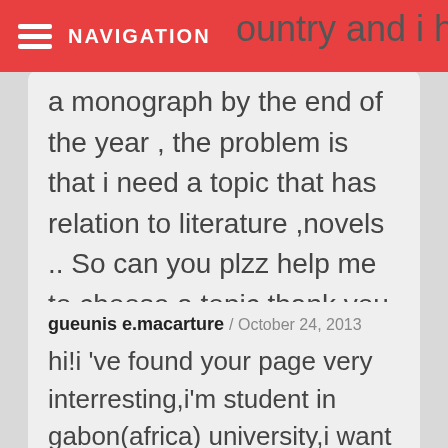NAVIGATION
country and i have to do a monograph by the end of the year , the problem is that i need a topic that has relation to literature ,novels .. So can you plzz help me to choose a topic thank you 🙂
gueunis e.macarture / October 24, 2013
hi!i 've found your page very interresting,i'm student in gabon(africa) university,i want to ask you among all subjets you 've put,the 52nd-"how did Cold War tension affect the